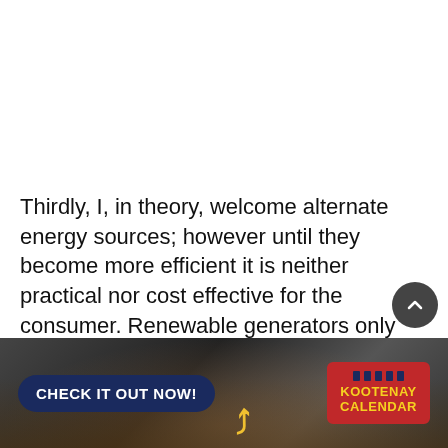Thirdly, I, in theory, welcome alternate energy sources; however until they become more efficient it is neither practical nor cost effective for the consumer. Renewable generators only produce power intermittently — when the sun shines or whenthe wind blows. Wind turbines, for example, spin only about a third of the time. That mean
[Figure (illustration): Advertisement banner showing a concert crowd background with a dark blue 'CHECK IT OUT NOW!' button on the left, a yellow cursive arrow decoration in the middle, and a red Kootenay Calendar logo box on the right with blue tick marks above the text 'KOOTENAY CALENDAR'.]